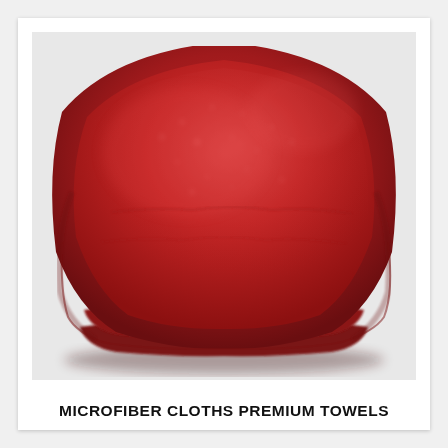[Figure (photo): A stack of red microfiber cloth towels photographed up close, showing the soft textured surface in focus at the top and multiple folded layers visible below.]
MICROFIBER CLOTHS PREMIUM TOWELS